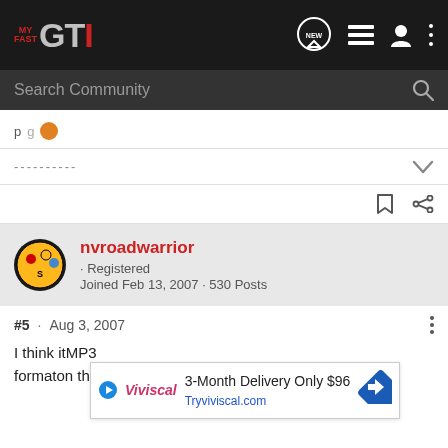MY FAST GTI — community forum navigation bar with NEW, list, user, and more icons
Search Community
----------
nvroadwarrior · Registered
Joined Feb 13, 2007 · 530 Posts
#5 · Aug 3, 2007
I think it MP3 format on the
[Figure (screenshot): Advertisement banner: Viviscal logo, '3-Month Delivery Only $96', 'Tryviviscal.com', blue diamond arrow icon]